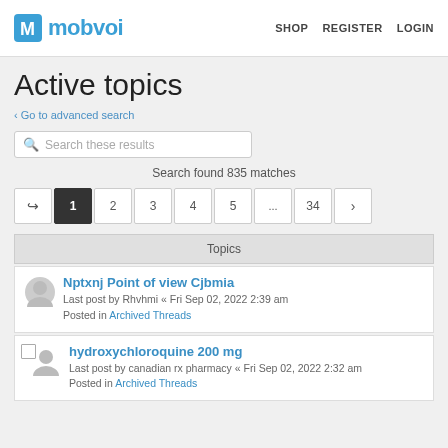mobvoi  SHOP  REGISTER  LOGIN
Active topics
< Go to advanced search
Search these results
Search found 835 matches
1  2  3  4  5  ...  34
Topics
Nptxnj Point of view Cjbmia
Last post by Rhvhmi « Fri Sep 02, 2022 2:39 am
Posted in Archived Threads
hydroxychloroquine 200 mg
Last post by canadian rx pharmacy « Fri Sep 02, 2022 2:32 am
Posted in Archived Threads